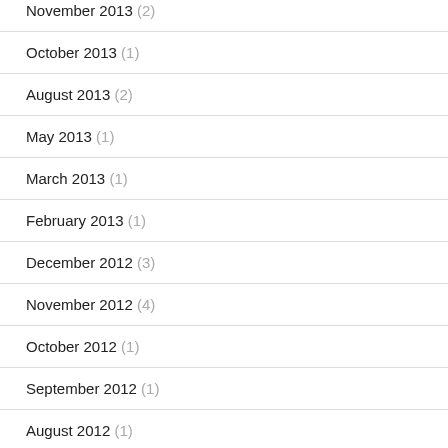November 2013 (2)
October 2013 (1)
August 2013 (2)
May 2013 (1)
March 2013 (1)
February 2013 (1)
December 2012 (3)
November 2012 (4)
October 2012 (1)
September 2012 (1)
August 2012 (1)